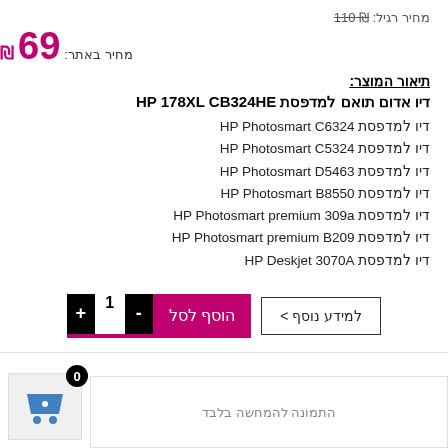מחיר רגיל: ₪ 110
מחיר באתר: ₪ 69
תיאור המוצר:
דיו אדום תואם למדפסת HP 178XL CB324HE
דיו למדפסת HP Photosmart C6324
דיו למדפסת HP Photosmart C5324
דיו למדפסת HP Photosmart D5463
דיו למדפסת HP Photosmart B8550
דיו למדפסת HP Photosmart premium 309a
דיו למדפסת HP Photosmart premium B209
דיו למדפסת HP Deskjet 3070A
למידע נוסף >
הוסף לסל  -  1  +
[Figure (illustration): Shopping cart icon with badge showing 0]
התמונה להמחשה בלבד